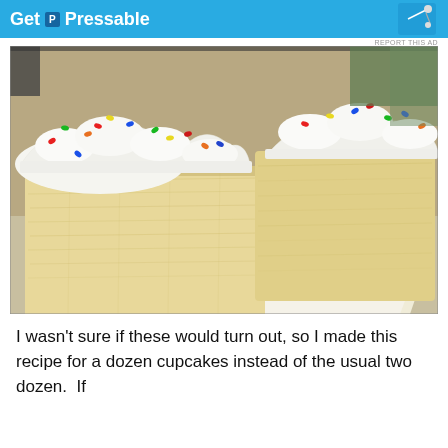[Figure (other): Advertisement banner for Pressable hosting service with blue background, white text reading 'Get P Pressable' with a logo icon]
[Figure (photo): Close-up photo of white vanilla cupcakes with white frosting topped with colorful rainbow sprinkles, shown on white parchment paper. The cupcakes are cut to reveal a fluffy light yellow cake interior.]
I wasn't sure if these would turn out, so I made this recipe for a dozen cupcakes instead of the usual two dozen.  If